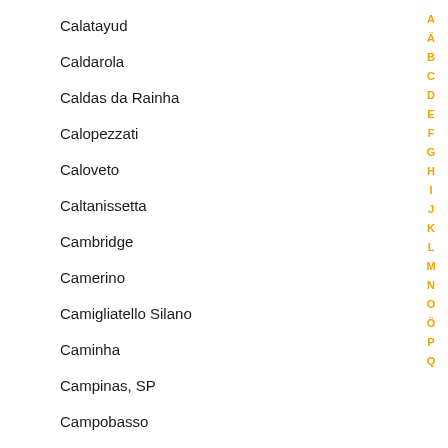Calatayud
Caldarola
Caldas da Rainha
Calopezzati
Caloveto
Caltanissetta
Cambridge
Camerino
Camigliatello Silano
Caminha
Campinas, SP
Campobasso
Campora San Giovanni
Çan
Canakkale